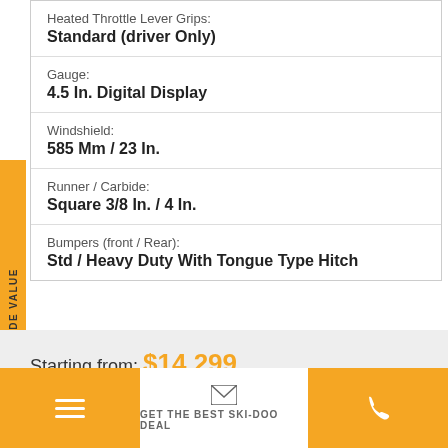Heated Throttle Lever Grips: Standard (driver Only)
Gauge: 4.5 In. Digital Display
Windshield: 585 Mm / 23 In.
Runner / Carbide: Square 3/8 In. / 4 In.
Bumpers (front / Rear): Std / Heavy Duty With Tongue Type Hitch
Starting from: $14,299
GET THE BEST SKI-DOO DEAL